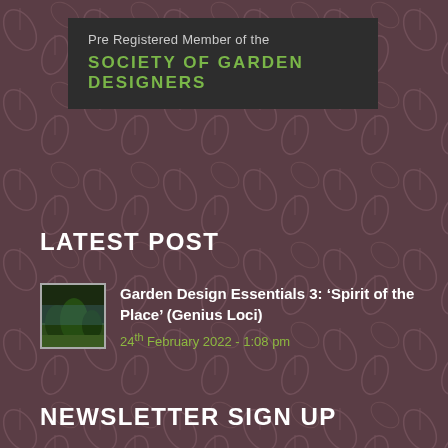[Figure (logo): Society of Garden Designers pre-registered member badge on dark background. Text reads 'Pre Registered Member of the SOCIETY OF GARDEN DESIGNERS']
LATEST POST
[Figure (photo): Small thumbnail image of a garden scene with green trees/landscape]
Garden Design Essentials 3: ‘Spirit of the Place’ (Genius Loci)
24th February 2022 - 1:08 pm
NEWSLETTER SIGN UP